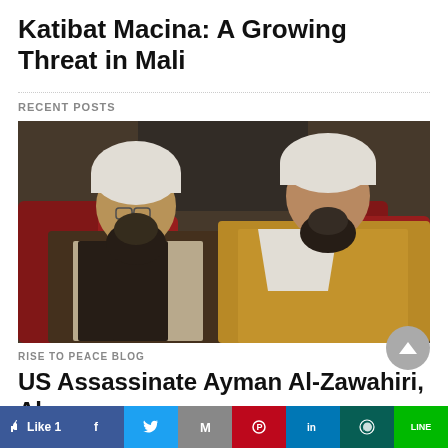Katibat Macina: A Growing Threat in Mali
RECENT POSTS
[Figure (photo): Two men wearing white turbans seated side by side in front of red chairs. The man on the left wears glasses and a dark vest over a light shirt. The man on the right wears a tan/gold robe with a white shawl.]
RISE TO PEACE BLOG
US Assassinate Ayman Al-Zawahiri, Al-